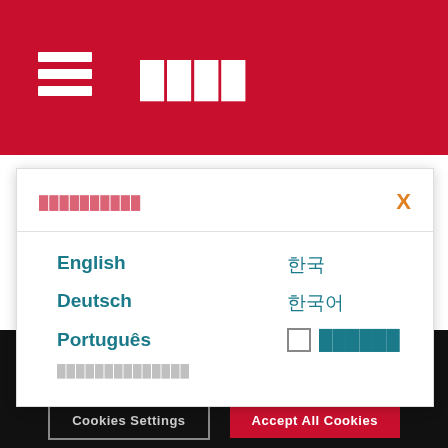☰ ████
██████████
English 한국
Deutsch 한국어
Português ☐ ██████
overclockers
We use cookies to personalize content and ads, to provide social media features and to analyze our traffic. We also share information about your use of our site with our social media, advertising and analytics partners.
Cookies Settings
Accept All Cookies